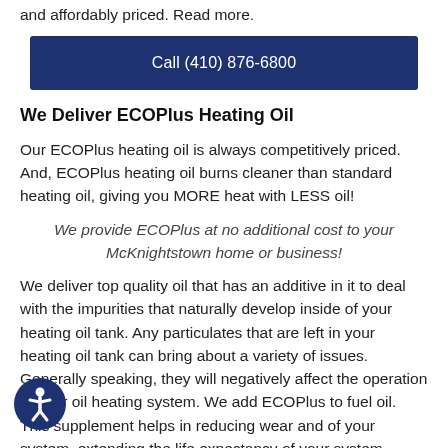and affordably priced. Read more.
Call (410) 876-6800
We Deliver ECOPlus Heating Oil
Our ECOPlus heating oil is always competitively priced. And, ECOPlus heating oil burns cleaner than standard heating oil, giving you MORE heat with LESS oil!
We provide ECOPlus at no additional cost to your McKnightstown home or business!
We deliver top quality oil that has an additive in it to deal with the impurities that naturally develop inside of your heating oil tank. Any particulates that are left in your heating oil tank can bring about a variety of issues. Generally speaking, they will negatively affect the operation of your oil heating system. We add ECOPlus to fuel oil. This supplement helps in reducing wear and of your system, extending the life expectancy of your system. Likewise, it helps your equipment produce less